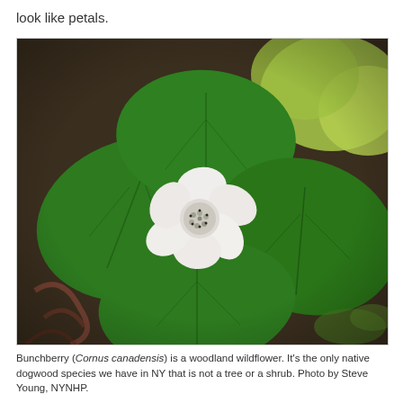look like petals.
[Figure (photo): Close-up photograph of a Bunchberry (Cornus canadensis) plant showing a white flower with four white petal-like bracts and a small cluster of tiny flowers in the center, surrounded by large, broad green leaves with prominent veins. The background is blurred with more leaves and forest floor debris.]
Bunchberry (Cornus canadensis) is a woodland wildflower. It's the only native dogwood species we have in NY that is not a tree or a shrub. Photo by Steve Young, NYNHP.